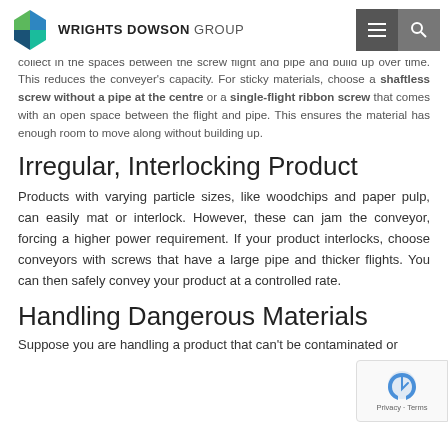WRIGHTS DOWSON GROUP
Suppose your product isn't free-flowing and is instead sticky or viscous, like green malt, sewage sludge and wet beet sugar. In this case, the material can collect in the spaces between the screw flight and pipe and build up over time. This reduces the conveyer's capacity. For sticky materials, choose a shaftless screw without a pipe at the centre or a single-flight ribbon screw that comes with an open space between the flight and pipe. This ensures the material has enough room to move along without building up.
Irregular, Interlocking Product
Products with varying particle sizes, like woodchips and paper pulp, can easily mat or interlock. However, these can jam the conveyor, forcing a higher power requirement. If your product interlocks, choose conveyors with screws that have a large pipe and thicker flights. You can then safely convey your product at a controlled rate.
Handling Dangerous Materials
Suppose you are handling a product that can't be contaminated or